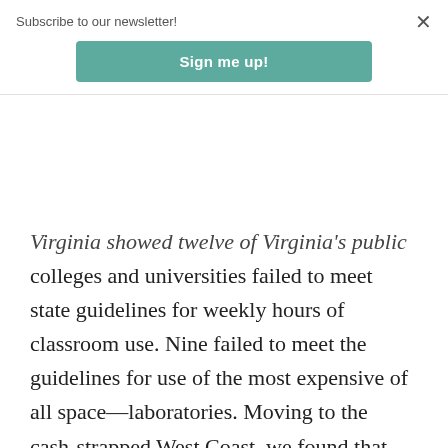Subscribe to our newsletter!
Sign me up!
Virginia showed twelve of Virginia's public colleges and universities failed to meet state guidelines for weekly hours of classroom use. Nine failed to meet the guidelines for use of the most expensive of all space—laboratories. Moving to the cash-strapped West Coast, we found that out of the thirty-four public universities in the California State and University of California systems, only one met the state's minimum standards for average weekly contact hours. Penn State has had a